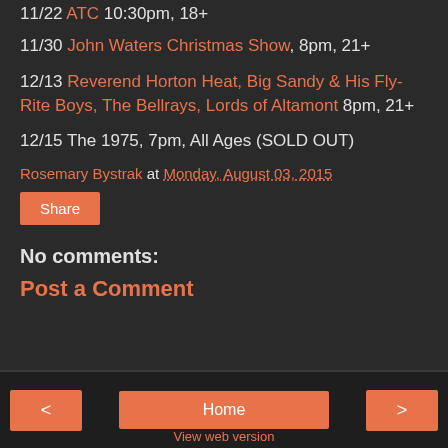11/22 ATC 10:30pm, 18+
11/30 John Waters Christmas Show, 8pm, 21+
12/13 Reverend Horton Heat, Big Sandy & His Fly-Rite Boys, The Bellrays, Lords of Altamont 8pm, 21+
12/15 The 1975, 7pm, All Ages (SOLD OUT)
Rosemary Bystrak at Monday, August 03, 2015
Share
No comments:
Post a Comment
< Home > View web version